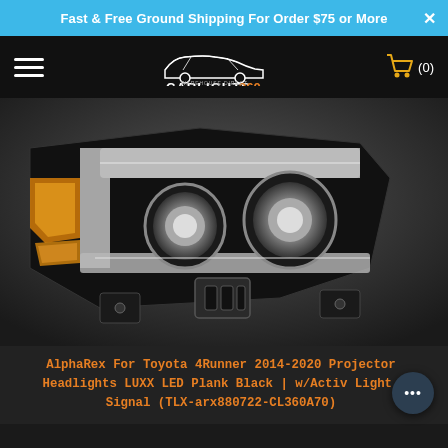Fast & Free Ground Shipping For Order $75 or More
[Figure (logo): CarLights360 Warehouse Direct logo with car silhouette on black navigation header]
[Figure (photo): AlphaRex Toyota 4Runner 2014-2020 LUXX LED Plank Black projector headlights pair shown on white background, featuring dual projector lenses, LED bar accents, and amber corner pieces]
AlphaRex For Toyota 4Runner 2014-2020 Projector Headlights LUXX LED Plank Black | w/Activ Light, Signal (TLX-arx880722-CL360A70)